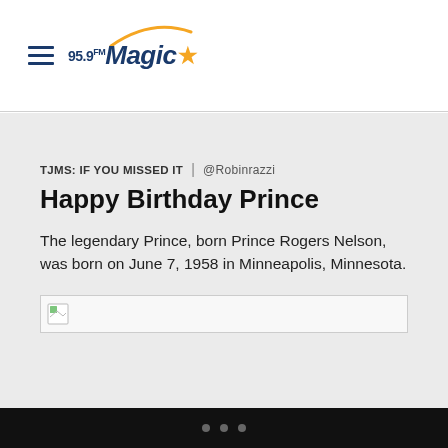95.9 FM Magic
TJMS: IF YOU MISSED IT | @Robinrazzi
Happy Birthday Prince
The legendary Prince, born Prince Rogers Nelson, was born on June 7, 1958 in Minneapolis, Minnesota.
[Figure (photo): Image placeholder (broken/missing image icon)]